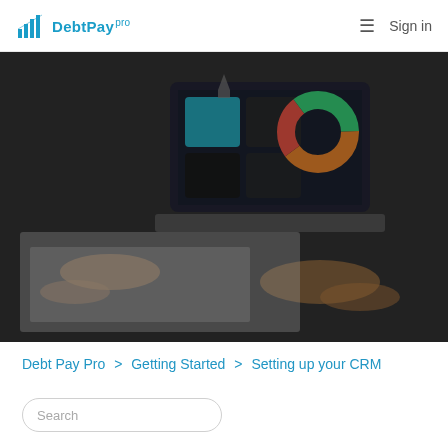DebtPay pro  Sign in
[Figure (photo): Two people working at a desk with papers and a laptop showing colorful graphics on screen, hands pointing at documents, dark-toned photograph]
Debt Pay Pro  >  Getting Started  >  Setting up your CRM